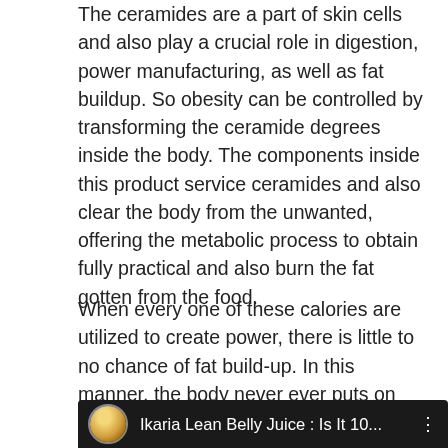The ceramides are a part of skin cells and also play a crucial role in digestion, power manufacturing, as well as fat buildup. So obesity can be controlled by transforming the ceramide degrees inside the body. The components inside this product service ceramides and also clear the body from the unwanted, offering the metabolic process to obtain fully practical and also burn the fat gotten from the food.
When every one of these calories are utilized to create power, there is little to no chance of fat build-up. In this manner, the body never ever puts on weight, regardless of what you eat later.
[Figure (screenshot): Video thumbnail showing a YouTube-style video player with a circular avatar on the left and the title 'Ikaria Lean Belly Juice : Is It 10...' on a dark background with a three-dot menu icon on the right.]